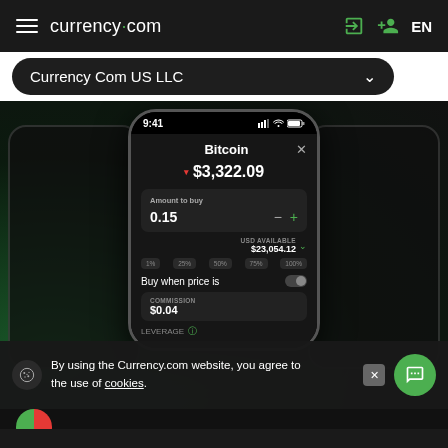currency.com  EN
Currency Com US LLC
[Figure (screenshot): Mobile phone mockup showing Currency.com trading app with Bitcoin price $3,322.09, Amount to buy 0.15, USD Available $23,054.12, Buy when price is toggle, Commission $0.04, Leverage option. Flanked by two dark device frame outlines on left and right.]
By using the Currency.com website, you agree to the use of cookies.